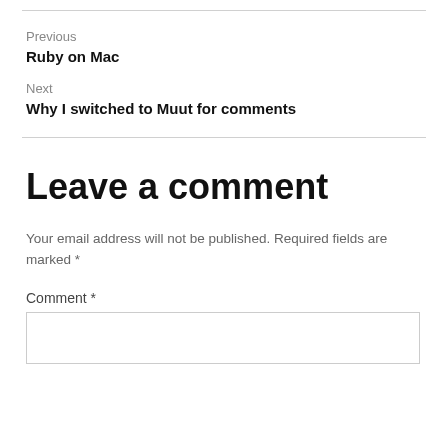Previous
Ruby on Mac
Next
Why I switched to Muut for comments
Leave a comment
Your email address will not be published. Required fields are marked *
Comment *